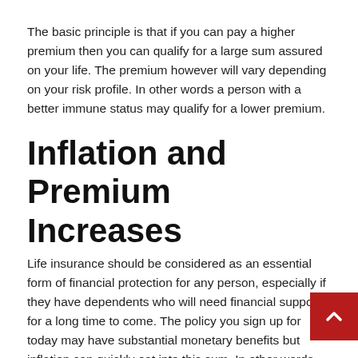The basic principle is that if you can pay a higher premium then you can qualify for a large sum assured on your life. The premium however will vary depending on your risk profile. In other words a person with a better immune status may qualify for a lower premium.
Inflation and Premium Increases
Life insurance should be considered as an essential form of financial protection for any person, especially if they have dependents who will need financial support for a long time to come. The policy you sign up for today may have substantial monetary benefits but inflation can quickly eat into this sum. In other words the monetary value today will be lower in the future.